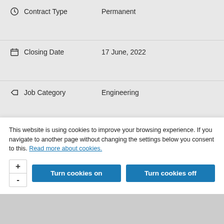Contract Type — Permanent
Closing Date — 17 June, 2022
Job Category — Engineering
Business Unit — Midlands
Location — Leicester, United Kingdom (Incl. Northern Ireland)
This website is using cookies to improve your browsing experience. If you navigate to another page without changing the settings below you consent to this. Read more about cookies.